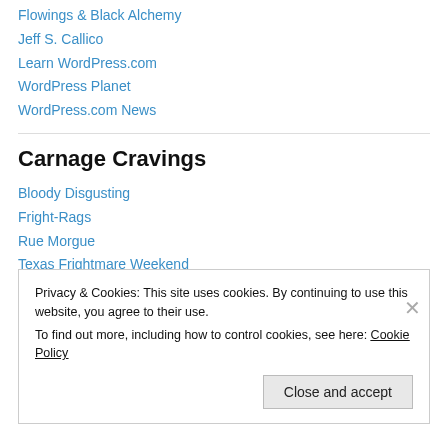Flowings & Black Alchemy
Jeff S. Callico
Learn WordPress.com
WordPress Planet
WordPress.com News
Carnage Cravings
Bloody Disgusting
Fright-Rags
Rue Morgue
Texas Frightmare Weekend
Privacy & Cookies: This site uses cookies. By continuing to use this website, you agree to their use. To find out more, including how to control cookies, see here: Cookie Policy